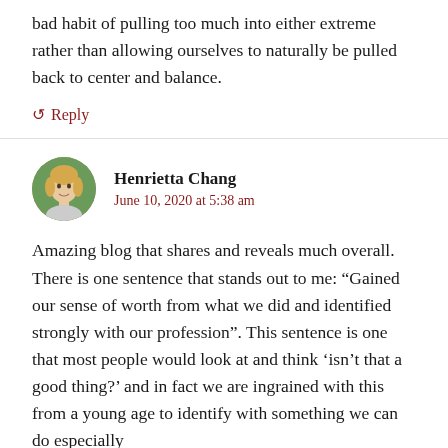bad habit of pulling too much into either extreme rather than allowing ourselves to naturally be pulled back to center and balance.
↺ Reply
Henrietta Chang
June 10, 2020 at 5:38 am
[Figure (photo): Circular avatar photo of Henrietta Chang, a blonde woman outdoors with green background]
Amazing blog that shares and reveals much overall. There is one sentence that stands out to me: “Gained our sense of worth from what we did and identified strongly with our profession”. This sentence is one that most people would look at and think ‘isn’t that a good thing?’ and in fact we are ingrained with this from a young age to identify with something we can do especially